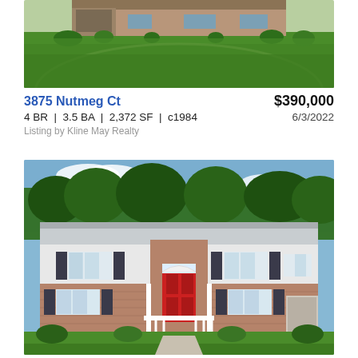[Figure (photo): Aerial/exterior view of a brick house with a large green lawn, shrubs and landscaping, showing the roof and yard from above]
3875 Nutmeg Ct
$390,000
4 BR | 3.5 BA | 2,372 SF | c1984
6/3/2022
Listing by Kline May Realty
[Figure (photo): Front exterior photo of a two-story split-level brick and white siding house with a bright red front door, white porch railings, black shutters, green lawn, and trees in background on a sunny day]